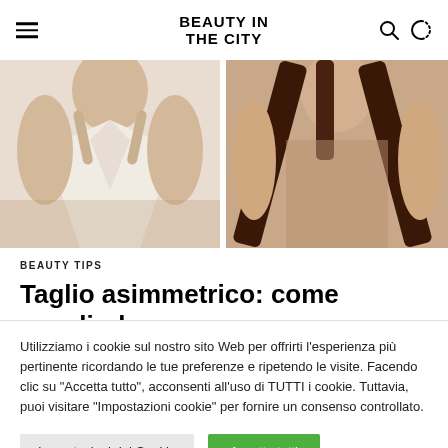BEAUTY IN THE CITY
[Figure (photo): Two fashion/beauty photos side by side: left shows a woman in a white/cream v-neck dress; right shows a woman in a dark brown outfit with cross-body straps.]
BEAUTY TIPS
Taglio asimmetrico: come sceglierlo
Utilizziamo i cookie sul nostro sito Web per offrirti l'esperienza più pertinente ricordando le tue preferenze e ripetendo le visite. Facendo clic su "Accetta tutto", acconsenti all'uso di TUTTI i cookie. Tuttavia, puoi visitare "Impostazioni cookie" per fornire un consenso controllato.